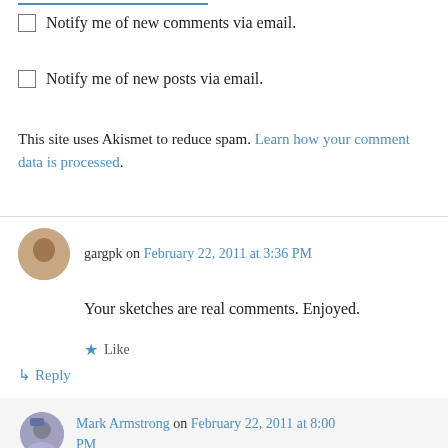Notify me of new comments via email.
Notify me of new posts via email.
This site uses Akismet to reduce spam. Learn how your comment data is processed.
gargpk on February 22, 2011 at 3:36 PM
Your sketches are real comments. Enjoyed.
Like
Reply
Mark Armstrong on February 22, 2011 at 8:00 PM